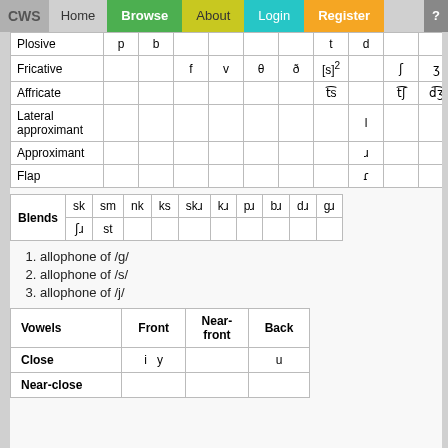CWS | Home | Browse | About | Login | Register | ?
|  |  |  |  |  |  |  |  |  |  |  |
| --- | --- | --- | --- | --- | --- | --- | --- | --- | --- | --- |
| Plosive | p | b |  |  |  |  | t | d |  |  |
| Fricative |  |  | f | v | θ | ð | [s]² |  | ʃ | ʒ |
| Affricate |  |  |  |  |  |  | t͡s |  | t͡ʃ | d͡ʒ |
| Lateral approximant |  |  |  |  |  |  |  | l |  |  |
| Approximant |  |  |  |  |  |  |  | ɹ |  |  |
| Flap |  |  |  |  |  |  |  | ɾ |  |  |
| Blends | sk | sm | nk | ks | skɹ | kɹ | pɹ | bɹ | dɹ | gɹ |
| --- | --- | --- | --- | --- | --- | --- | --- | --- | --- | --- |
|  | ʃɹ | st |  |  |  |  |  |  |  |  |
1. allophone of /g/
2. allophone of /s/
3. allophone of /j/
| Vowels | Front | Near-front | Back |
| --- | --- | --- | --- |
| Close | i  y |  | u |
| Near-close |  |  |  |